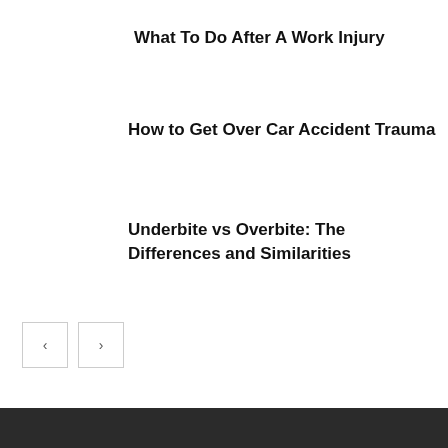What To Do After A Work Injury
How to Get Over Car Accident Trauma
Underbite vs Overbite: The Differences and Similarities